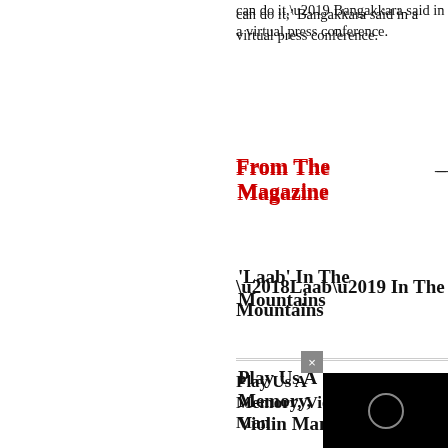can do it,’ Bangakkara said in a virtual press conference.
From The Magazine
‘Laab’ In The Mountains
Play Us A Memory, Violin Man
It’s Just Numbers, Love
I, Me, Myself
[Figure (screenshot): Black video player overlay with circular loading/play indicator, with a grey close (x) button in the upper left corner of the overlay.]